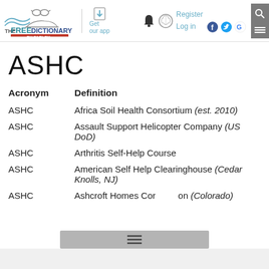THE FREE DICTIONARY BY FARLEX — Get our app — Register Log in
ASHC
| Acronym | Definition |
| --- | --- |
| ASHC | Africa Soil Health Consortium (est. 2010) |
| ASHC | Assault Support Helicopter Company (US DoD) |
| ASHC | Arthritis Self-Help Course |
| ASHC | American Self Help Clearinghouse (Cedar Knolls, NJ) |
| ASHC | Ashcroft Homes Corporation (Colorado) |